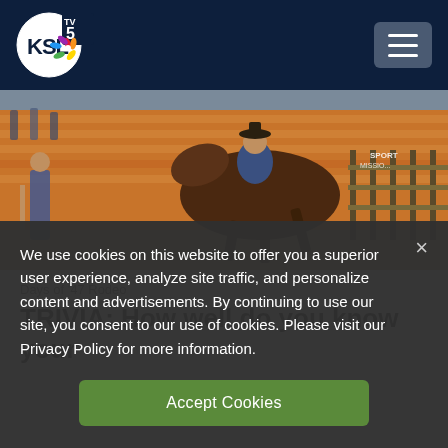KSL TV 5 NBC - Navigation header
[Figure (photo): Rodeo photograph showing a bucking horse with rider at the Days of '47 Rodeo event, with orange bleachers visible in the background. Sponsor logos including Sport Mission and Young Living are partially visible.]
Days of '47 Rodeo
TRIVIA: How well do you know your
We use cookies on this website to offer you a superior user experience, analyze site traffic, and personalize content and advertisements. By continuing to use our site, you consent to our use of cookies. Please visit our Privacy Policy for more information.
Accept Cookies